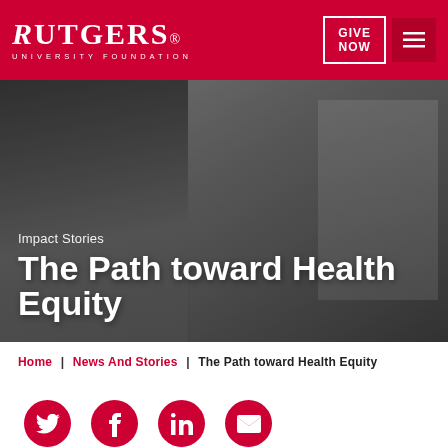RUTGERS® UNIVERSITY FOUNDATION | GIVE NOW | ☰
[Figure (photo): Two people standing outdoors in front of a graffiti-covered wall. A woman with dark curly hair on the left and a man with short hair on the right, both in business casual attire.]
Impact Stories
The Path toward Health Equity
Home | News And Stories | The Path toward Health Equity
[Figure (other): Social media share icons row: Twitter, Facebook, LinkedIn, Email — all red circles with white icons]